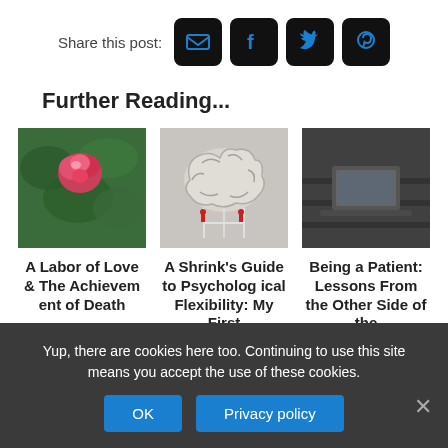Share this post:
[Figure (other): Social share icons: email, Facebook, Twitter, Pinterest on dark rounded square backgrounds]
Further Reading...
[Figure (photo): Photo of a red and white rose with green foliage]
A Labor of Love & The Achievement of Death
[Figure (photo): Illustration of a brain structure with scaffold and small red figures]
A Shrink's Guide to Psychological Flexibility: My First
[Figure (photo): Black and white photo of a laptop on a dark surface]
Being a Patient: Lessons From the Other Side of the
Yup, there are cookies here too. Continuing to use this site means you accept the use of these cookies.
OK
Privacy policy